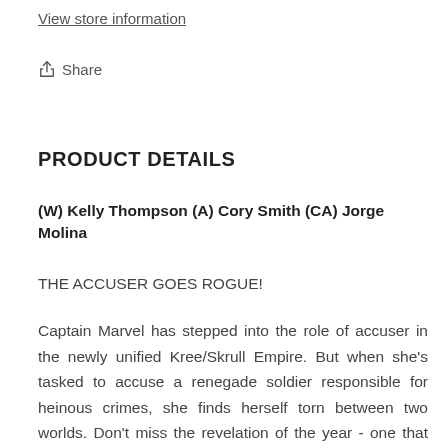View store information
Share
PRODUCT DETAILS
(W) Kelly Thompson (A) Cory Smith (CA) Jorge Molina
THE ACCUSER GOES ROGUE!
Captain Marvel has stepped into the role of accuser in the newly unified Kree/Skrull Empire. But when she's tasked to accuse a renegade soldier responsible for heinous crimes, she finds herself torn between two worlds. Don't miss the revelation of the year - one that will not only change Carol's whole world, but the